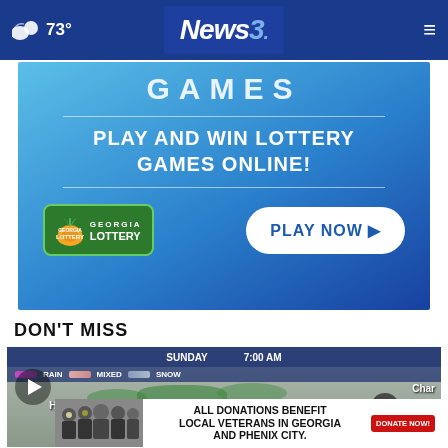☁ 73° | News3 | ≡
[Figure (photo): Georgia Lottery advertisement banner: 'GAMES' text at top, 'PLAY AND WIN LOTTERY GAMES ONLINE!' in center, Georgia Lottery peach logo on left, 'PLAY NOW ▶' button on right, blue gradient background]
DON'T MISS
[Figure (screenshot): Weather radar video thumbnail showing map with Huntsville label, Sunday 7:00 AM, rain/mixed/snow legend bar, with play button overlay]
[Figure (photo): Inner advertisement: group photo of veterans with text 'ALL DONATIONS BENEFIT LOCAL VETERANS IN GEORGIA AND PHENIX CITY.' and red DONATE NOW button]